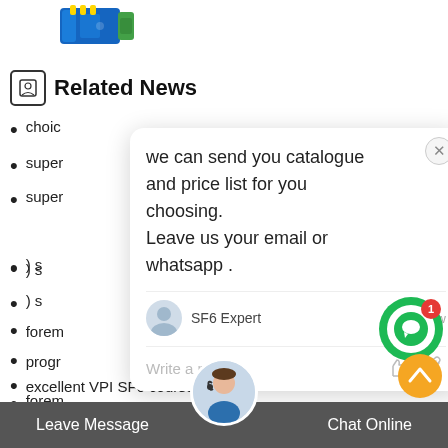[Figure (photo): Product photo of a blue/gold connector component, partially visible at top left]
Related News
choic...
super...
super...
[Figure (screenshot): Chat popup with message: 'we can send you catalogue and price list for you choosing. Leave us your email or whatsapp.' From SF6 Expert, just now. With reply input bar showing 'Write a reply..']
forem...
progr...
excellent VPI SF6 course pricing
excellent Proveedores de SF6 couplings cost
distinguished emissions fact...
avant-garde Soluci 243 n SF6 carts manual
Leave Message
Chat Online